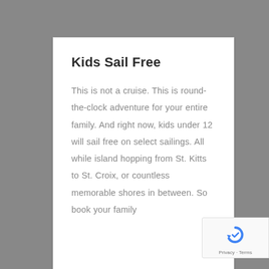Kids Sail Free
This is not a cruise. This is round-the-clock adventure for your entire family. And right now, kids under 12 will sail free on select sailings. All while island hopping from St. Kitts to St. Croix, or countless memorable shores in between. So book your family